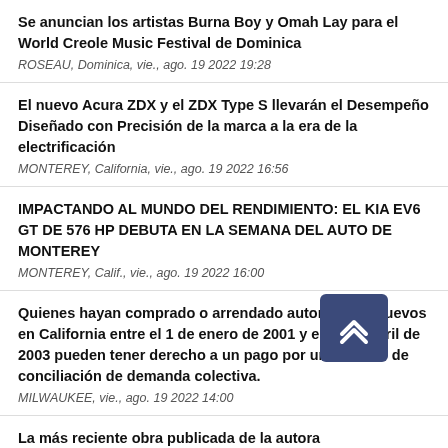Se anuncian los artistas Burna Boy y Omah Lay para el World Creole Music Festival de Dominica
ROSEAU, Dominica, vie., ago. 19 2022 19:28
El nuevo Acura ZDX y el ZDX Type S llevarán el Desempeño Diseñado con Precisión de la marca a la era de la electrificación
MONTEREY, California, vie., ago. 19 2022 16:56
IMPACTANDO AL MUNDO DEL RENDIMIENTO: EL KIA EV6 GT DE 576 HP DEBUTA EN LA SEMANA DEL AUTO DE MONTEREY
MONTEREY, Calif., vie., ago. 19 2022 16:00
Quienes hayan comprado o arrendado automóviles nuevos en California entre el 1 de enero de 2001 y el 30 de abril de 2003 pueden tener derecho a un pago por un acuerdo de conciliación de demanda colectiva.
MILWAUKEE, vie., ago. 19 2022 14:00
La más reciente obra publicada de la autora